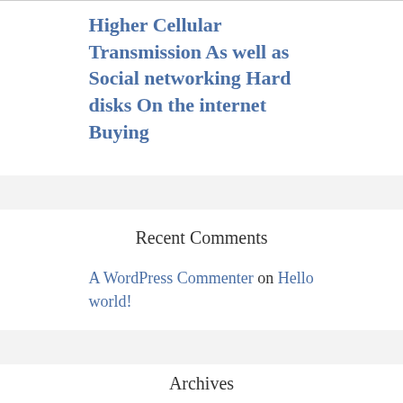Higher Cellular Transmission As well as Social networking Hard disks On the internet Buying
Recent Comments
A WordPress Commenter on Hello world!
Archives
August 2022